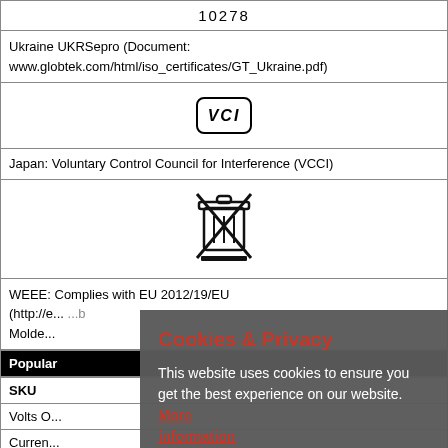| 10278 |
| Ukraine UKRSepro (Document: www.globtek.com/html/iso_certificates/GT_Ukraine.pdf) |
| [VCI symbol] |
| Japan: Voluntary Control Council for Interference (VCCI) |
| [WEEE symbol] |
| WEEE: Complies with EU 2012/19/EU
(http://e...)
Molde... |
| Popular |
| SKU |
| Volts O... |
| Curren... |
| Conne... |
| RFQ |
Cookies & Privacy
This website uses cookies to ensure you get the best experience on our website. More information
Accept Cookies